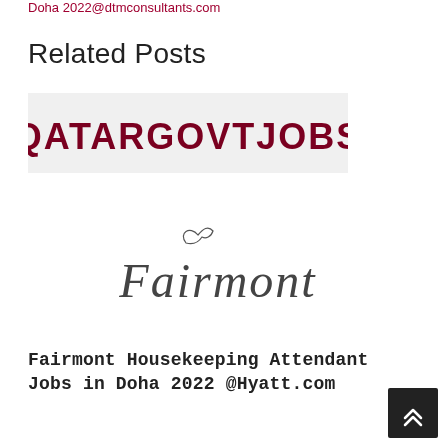Doha 2022@dtmconsultants.com
Related Posts
[Figure (logo): QATARGOVTJOBS logo in dark red bold text on a light grey background]
[Figure (logo): Fairmont hotel brand logo in elegant script lettering]
Fairmont Housekeeping Attendant Jobs in Doha 2022 @Hyatt.com